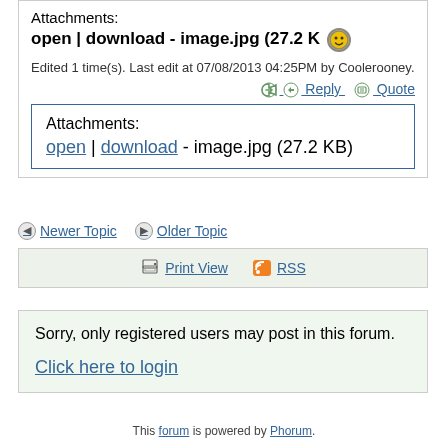Attachments:
open | download - image.jpg (27.2 K 😎
Edited 1 time(s). Last edit at 07/08/2013 04:25PM by Coolerooney.
Reply  Quote
Attachments:
open | download - image.jpg (27.2 KB)
Newer Topic   Older Topic
Print View   RSS
Sorry, only registered users may post in this forum.
Click here to login
This forum is powered by Phorum.